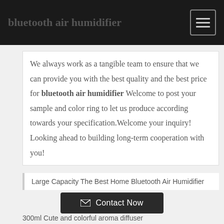bluetooth air humidifier
We always work as a tangible team to ensure that we can provide you with the best quality and the best price for bluetooth air humidifier Welcome to post your sample and color ring to let us produce according towards your specification.Welcome your inquiry! Looking ahead to building long-term cooperation with you!
Large Capacity The Best Home Bluetooth Air Humidifier
Contact Now
300ml Cute and colorful aroma diffuser